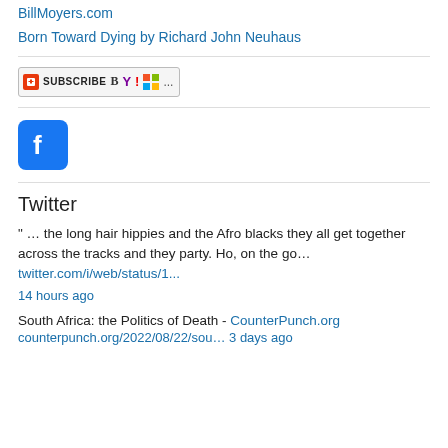BillMoyers.com
Born Toward Dying by Richard John Neuhaus
[Figure (screenshot): Subscribe button with RSS icon, Yahoo logo, and MSN/Windows logo]
[Figure (logo): Facebook logo icon (blue square with white f)]
Twitter
" … the long hair hippies and the Afro blacks they all get together across the tracks and they party. Ho, on the go… twitter.com/i/web/status/1...
14 hours ago
South Africa: the Politics of Death - CounterPunch.org
counterpunch.org/2022/08/22/sou… 3 days ago